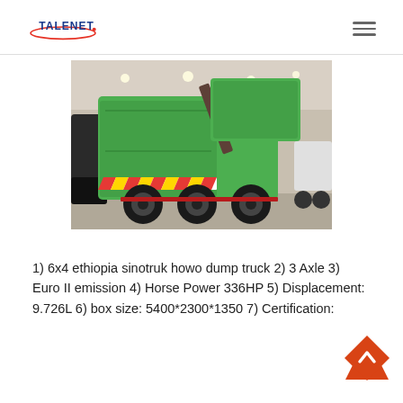TALENET
[Figure (photo): Green Sinotruk HOWO dump truck with rear-loading mechanism, photographed at an exhibition hall. The truck has red and yellow chevron reflective markings on the rear and is bright green colored.]
1) 6x4 ethiopia sinotruk howo dump truck 2) 3 Axle 3) Euro II emission 4) Horse Power 336HP 5) Displacement: 9.726L 6) box size: 5400*2300*1350 7) Certification: